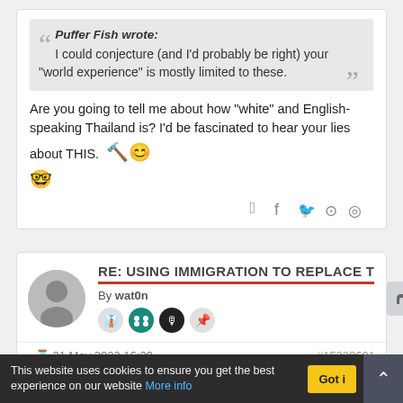Puffer Fish wrote: I could conjecture (and I'd probably be right) your "world experience" is mostly limited to these.
Are you going to tell me about how "white" and English-speaking Thailand is? I'd be fascinated to hear your lies about THIS.
RE: USING IMMIGRATION TO REPLACE T
By wat0n
- 21 May 2022 16:29
#15228691
This website uses cookies to ensure you get the best experience on our website More info